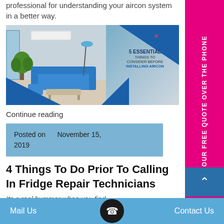professional for understanding your aircon system in a better way.
[Figure (photo): Indoor living room with blue sofa and aircon unit mounted on wall. Overlay shows Fast Fridge Repairs logo and text '5 Essential Things to Consider Before Installing Aircon']
Continue reading
Posted on November 15, 2019
4 Things To Do Prior To Calling In Fridge Repair Technicians
Its a real bummer when you find
GET YOUR FREE QUOTE OVER THE PHONE
Mail Us   Contact Us